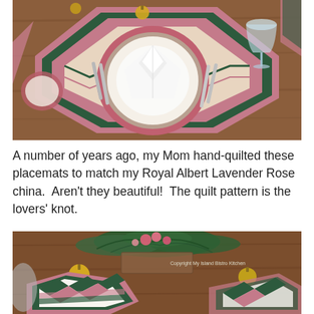[Figure (photo): Close-up of an octagonal hand-quilted placemat in pink/rose and dark green floral fabric with a lovers' knot pattern, set with Royal Albert Lavender Rose china plates, a folded white napkin, and silverware on a wooden table. Crystal wine glasses and gold ornaments visible in background.]
A number of years ago, my Mom hand-quilted these placemats to match my Royal Albert Lavender Rose china.  Aren't they beautiful!  The quilt pattern is the lovers' knot.
[Figure (photo): Overhead view of dining table showing octagonal quilted placemats with lovers' knot pattern in pink and dark green, with a floral centerpiece of pink flowers and greenery, gold Christmas ornaments, and place settings partially visible. Copyright watermark reads 'Copyright My Island Bistro Kitchen'.]